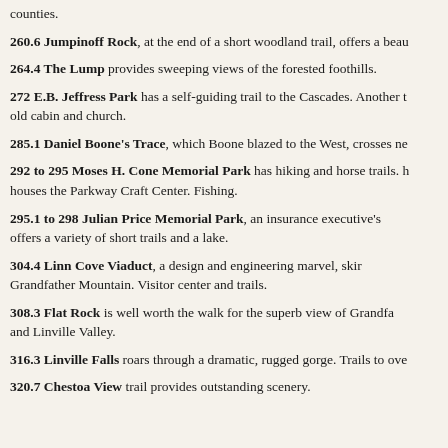counties.
260.6 Jumpinoff Rock, at the end of a short woodland trail, offers a beau
264.4 The Lump provides sweeping views of the forested foothills.
272 E.B. Jeffress Park has a self-guiding trail to the Cascades. Another t old cabin and church.
285.1 Daniel Boone's Trace, which Boone blazed to the West, crosses ne
292 to 295 Moses H. Cone Memorial Park has hiking and horse trails. houses the Parkway Craft Center. Fishing.
295.1 to 298 Julian Price Memorial Park, an insurance executive's offers a variety of short trails and a lake.
304.4 Linn Cove Viaduct, a design and engineering marvel, skir Grandfather Mountain. Visitor center and trails.
308.3 Flat Rock is well worth the walk for the superb view of Grandfa and Linville Valley.
316.3 Linville Falls roars through a dramatic, rugged gorge. Trails to ove
320.7 Chestoa View trail provides outstanding scenery.